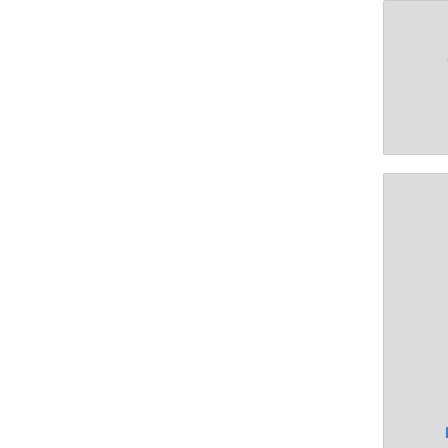[Figure (screenshot): File browser/media library grid view showing image thumbnails with filenames, dimensions, dates, and file sizes. Top row shows two partially visible cards with dates 2020/12/07 16:48, sizes 36.3 KB and 54.2 KB. Middle row shows hill.donte... (200x267, 2020/12/07 16:48, 29.9 KB) and irving.jpg (120x160, 2020/12/07 16:48, 5.3 KB) and partial third card. Bottom row shows jamil_wil... (150x220, 2020/12/07) and jeronne_... (150x220, 2020/12/07) and partial third card.]